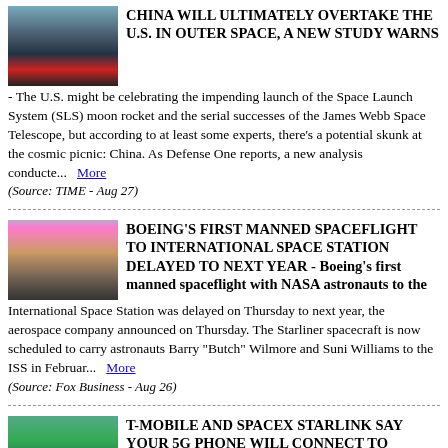CHINA WILL ULTIMATELY OVERTAKE THE U.S. IN OUTER SPACE, A NEW STUDY WARNS
- The U.S. might be celebrating the impending launch of the Space Launch System (SLS) moon rocket and the serial successes of the James Webb Space Telescope, but according to at least some experts, there's a potential skunk at the cosmic picnic: China. As Defense One reports, a new analysis conducte... More (Source: TIME - Aug 27)
BOEING'S FIRST MANNED SPACEFLIGHT TO INTERNATIONAL SPACE STATION DELAYED TO NEXT YEAR
- Boeing's first manned spaceflight with NASA astronauts to the International Space Station was delayed on Thursday to next year, the aerospace company announced on Thursday. The Starliner spacecraft is now scheduled to carry astronauts Barry "Butch" Wilmore and Suni Williams to the ISS in Februar... More (Source: Fox Business - Aug 26)
T-MOBILE AND SPACEX STARLINK SAY YOUR 5G PHONE WILL CONNECT TO SATELLITES NEXT YEAR
- T-Mobile says it's getting rid of mobile dead zones thanks to a new partnership with SpaceX's Starlink satellite internet, at an event hosted by T-Mobile CEO Mike Sievert and Elon Musk. With their "Coverage